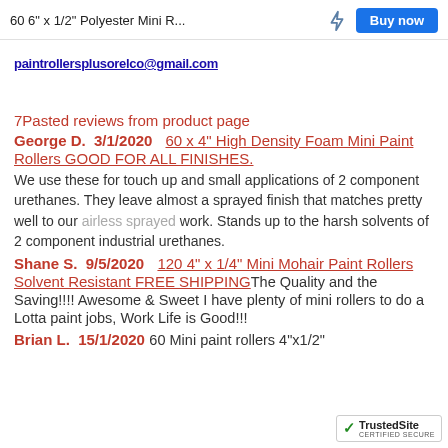60 6" x 1/2" Polyester Mini R...
paintrollersplusorelco@gmail.com
7Pasted reviews from product page
George D.  3/1/2020  60 x 4" High Density Foam Mini Paint Rollers GOOD FOR ALL FINISHES.
We use these for touch up and small applications of 2 component urethanes. They leave almost a sprayed finish that matches pretty well to our airless sprayed work. Stands up to the harsh solvents of 2 component industrial urethanes.
Shane S.  9/5/2020  120 4" x 1/4" Mini Mohair Paint Rollers Solvent Resistant FREE SHIPPINGThe Quality and the Saving!!!! Awesome & Sweet I have plenty of mini rollers to do a Lotta paint jobs, Work Life is Good!!!
Brian L.  15/1/2020  60 Mini paint rollers 4"x1/2"